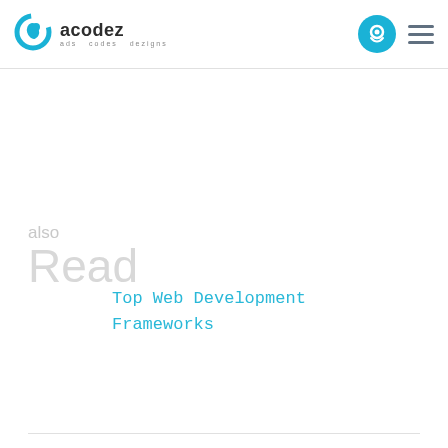acodez — ads codes dezigns
also Read
Top Web Development Frameworks